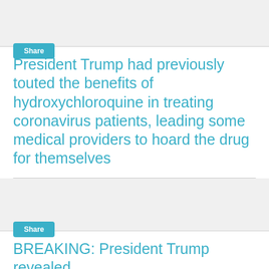[Figure (screenshot): Gray card area with Share button]
President Trump had previously touted the benefits of hydroxychloroquine in treating coronavirus patients, leading some medical providers to hoard the drug for themselves
[Figure (screenshot): Gray card area with Share button]
BREAKING: President Trump revealed